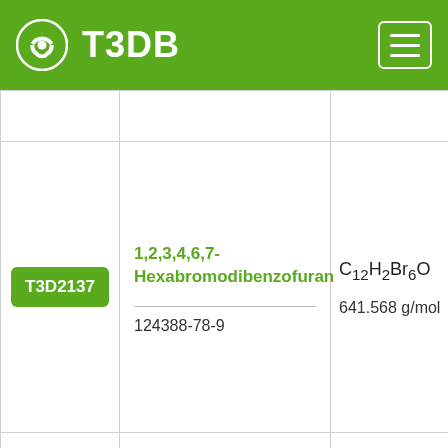T3DB
| ID | Name / CAS | Formula / MW |
| --- | --- | --- |
| T3D2137 | 1,2,3,4,6,7-Hexabromodibenzofuran
124388-78-9 | C12H2Br6O
641.568 g/mol |
|  | 1,2,3,4,6,7-Hexachlorodibenzo- |  |